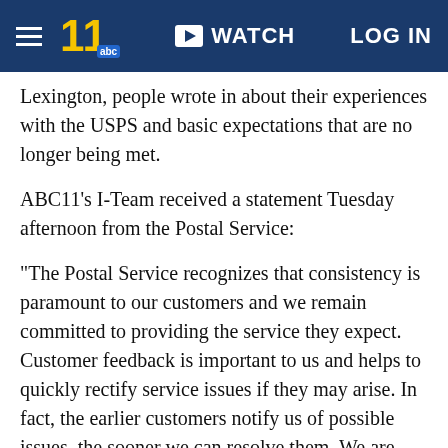WATCH  LOG IN
Lexington, people wrote in about their experiences with the USPS and basic expectations that are no longer being met.
ABC11's I-Team received a statement Tuesday afternoon from the Postal Service:
"The Postal Service recognizes that consistency is paramount to our customers and we remain committed to providing the service they expect. Customer feedback is important to us and helps to quickly rectify service issues if they may arise. In fact, the earlier customers notify us of possible issues, the sooner we can resolve them. We are working to correct any issues brought to our attention.